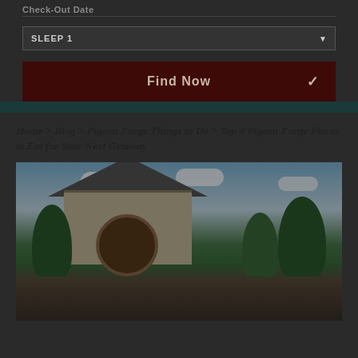Check-Out Date
SLEEP 1
Find Now
Home > Blog > Pigeon Forge Things to Do > Top 4 Pigeon Forge Places to Eat for Your Next Getaway
[Figure (photo): Exterior photo of a restaurant or attraction in Pigeon Forge, showing a building with trees, a circular sign, blue sky with clouds, and mountain/forest surroundings]